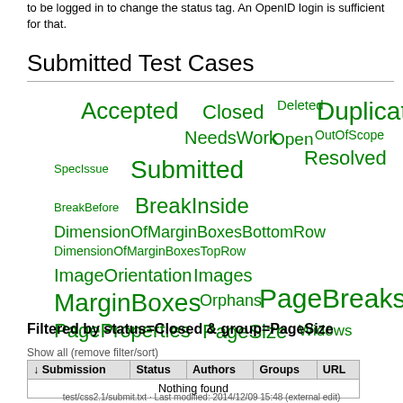to be logged in to change the status tag. An OpenID login is sufficient for that.
Submitted Test Cases
[Figure (infographic): Tag cloud showing test case status and group tags in green, varying font sizes: Accepted, Closed, Deleted, Duplicate, NeedsWork, Open, OutOfScope, Resolved, SpecIssue, Submitted, BreakBefore, BreakInside, DimensionOfMarginBoxesBottomRow, DimensionOfMarginBoxesTopRow, ImageOrientation, Images, MarginBoxes, Orphans, PageBreaks, PageProperties, PageSize, Widows]
Filtered by status=Closed & group=PageSize
Show all (remove filter/sort)
| ↓ Submission | Status | Authors | Groups | URL |
| --- | --- | --- | --- | --- |
| Nothing found |  |  |  |  |